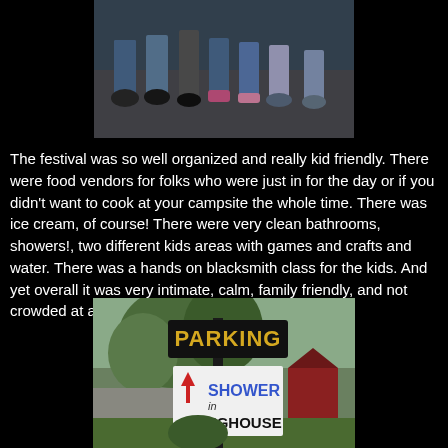[Figure (photo): Photo showing feet and lower legs of several people standing on a dirt/gravel surface, wearing various shoes and sandals.]
The festival was so well organized and really kid friendly. There were food vendors for folks who were just in for the day or if you didn't want to cook at your campsite the whole time. There was ice cream, of course! There were very clean bathrooms, showers!, two different kids areas with games and crafts and water. There was a hands on blacksmith class for the kids. And yet overall it was very intimate, calm, family friendly, and not crowded at all.
[Figure (photo): Photo of directional signs on a post in a rural setting. One black sign reads 'PARKING' in yellow letters, another white sign below reads 'SHOWER in LONGHOUSE' with a red arrow pointing up.]